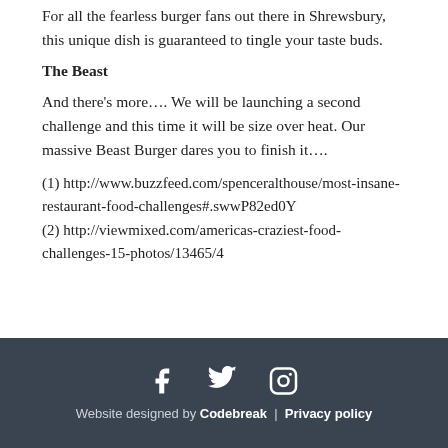For all the fearless burger fans out there in Shrewsbury, this unique dish is guaranteed to tingle your taste buds.
The Beast
And there’s more…. We will be launching a second challenge and this time it will be size over heat. Our massive Beast Burger dares you to finish it….
(1) http://www.buzzfeed.com/spenceralthouse/most-insane-restaurant-food-challenges#.swwP82ed0Y
(2) http://viewmixed.com/americas-craziest-food-challenges-15-photos/13465/4
Website designed by Codebreak | Privacy policy